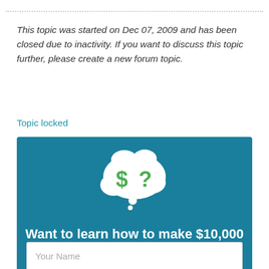This topic was started on Dec 07, 2009 and has been closed due to inactivity. If you want to discuss this topic further, please create a new forum topic.
Topic locked
[Figure (infographic): Teal/blue advertisement box with a white thought bubble containing green dollar sign and question mark symbols. Headline: 'Want to learn how to make $10,000 per month as an affiliate?' Subtext: 'Get 120+ free lessons, and discover how to build your own passive 6-figure income!' Input field with placeholder 'Your Name']